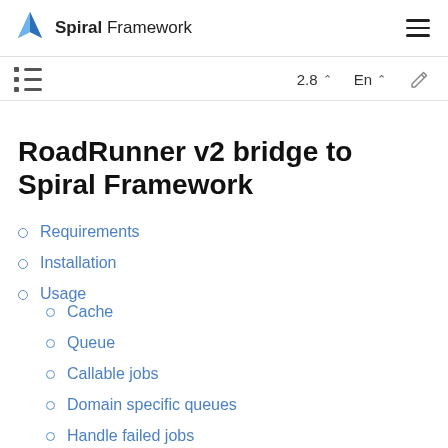Spiral Framework
RoadRunner v2 bridge to Spiral Framework
Requirements
Installation
Usage
Cache
Queue
Callable jobs
Domain specific queues
Handle failed jobs
TCP
Broadcasting